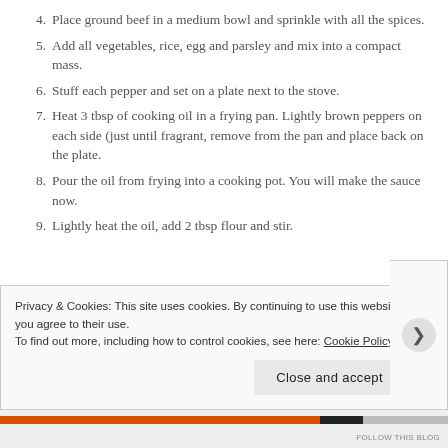4. Place ground beef in a medium bowl and sprinkle with all the spices.
5. Add all vegetables, rice, egg and parsley and mix into a compact mass.
6. Stuff each pepper and set on a plate next to the stove.
7. Heat 3 tbsp of cooking oil in a frying pan. Lightly brown peppers on each side (just until fragrant, remove from the pan and place back on the plate.
8. Pour the oil from frying into a cooking pot. You will make the sauce now.
9. Lightly heat the oil, add 2 tbsp flour and stir.
Privacy & Cookies: This site uses cookies. By continuing to use this website, you agree to their use.
To find out more, including how to control cookies, see here: Cookie Policy
Close and accept